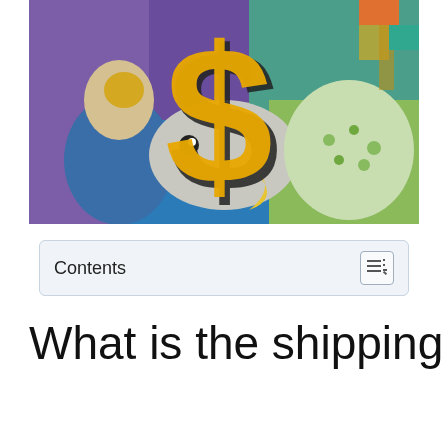[Figure (illustration): Street mural artwork showing colorful characters with a large yellow and black dollar sign ($) overlaid prominently in the center. Background features purple, blue, teal, and yellow painted figures.]
Contents
What is the shipping